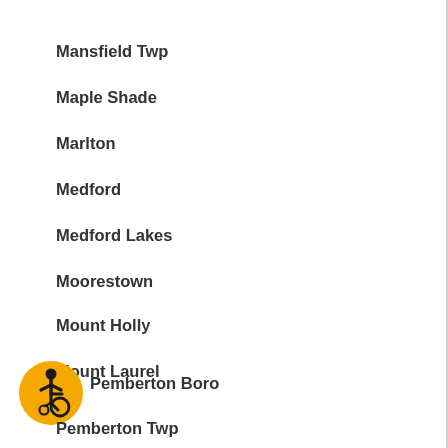Mansfield Twp
Maple Shade
Marlton
Medford
Medford Lakes
Moorestown
Mount Holly
Mount Laurel
New Hanover
North Hanover
Pemberton Boro
Pemberton Twp
[Figure (illustration): Accessibility icon: orange circle with black wheelchair user symbol]